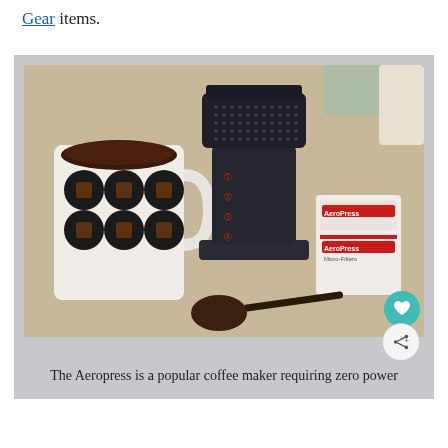Gear items.
[Figure (photo): An Aeropress coffee maker, a decorative mug with black coffee, a coffee scoop, and an Aeropress filter box on a countertop. A teal heart icon button and a share icon button are overlaid on the bottom-right of the image.]
The Aeropress is a popular coffee maker requiring zero power